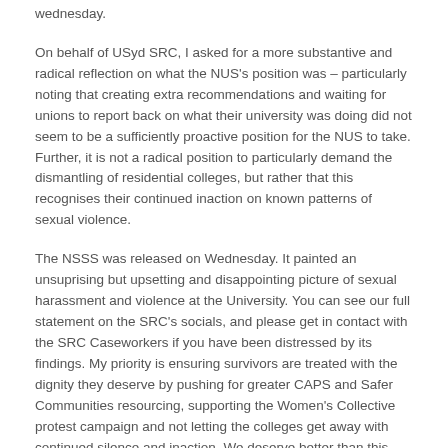wednesday.
On behalf of USyd SRC, I asked for a more substantive and radical reflection on what the NUS's position was – particularly noting that creating extra recommendations and waiting for unions to report back on what their university was doing did not seem to be a sufficiently proactive position for the NUS to take. Further, it is not a radical position to particularly demand the dismantling of residential colleges, but rather that this recognises their continued inaction on known patterns of sexual violence.
The NSSS was released on Wednesday. It painted an unsuprising but upsetting and disappointing picture of sexual harassment and violence at the University. You can see our full statement on the SRC's socials, and please get in contact with the SRC Caseworkers if you have been distressed by its findings. My priority is ensuring survivors are treated with the dignity they deserve by pushing for greater CAPS and Safer Communities resourcing, supporting the Women's Collective protest campaign and not letting the colleges get away with continued silence and inaction. We deserve better than this.